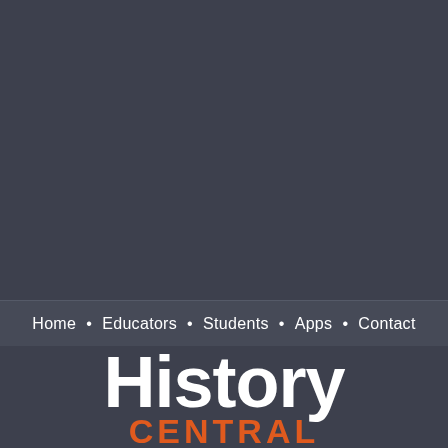Home · Educators · Students · Apps · Contact
History CENTRAL